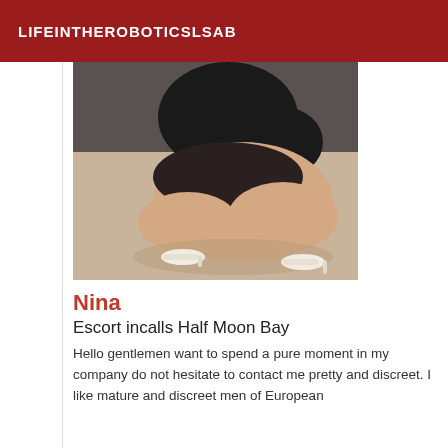LIFEINTHEROBOTICSLSAB
[Figure (photo): A person kneeling/crouching wearing a black top and short skirt with white heeled sandals, photographed from above on a light floor.]
Nina
Escort incalls Half Moon Bay
Hello gentlemen want to spend a pure moment in my company do not hesitate to contact me pretty and discreet. I like mature and discreet men of European